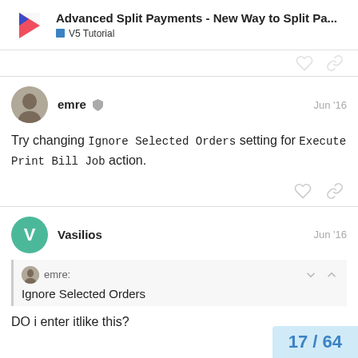Advanced Split Payments - New Way to Split Pa... | V5 Tutorial
Try changing Ignore Selected Orders setting for Execute Print Bill Job action.
Vasilios Jun '16
emre: Ignore Selected Orders
DO i enter itlike this?
17 / 64